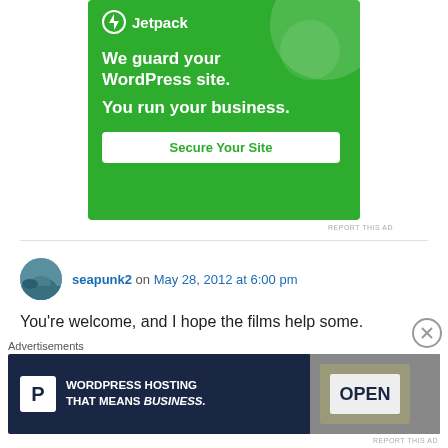[Figure (screenshot): Jetpack advertisement banner on green background with text 'We guard your WordPress site. You run your business.' and a 'Secure Your Site' button]
REPORT THIS AD
seapunk2 on May 28, 2012 at 6:00 pm
You're welcome, and I hope the films help some.
Reply
Advertisements
[Figure (screenshot): WordPress Hosting advertisement banner with dark navy background showing 'WORDPRESS HOSTING THAT MEANS BUSINESS.' text with P logo and an OPEN sign photo]
REPORT THIS AD